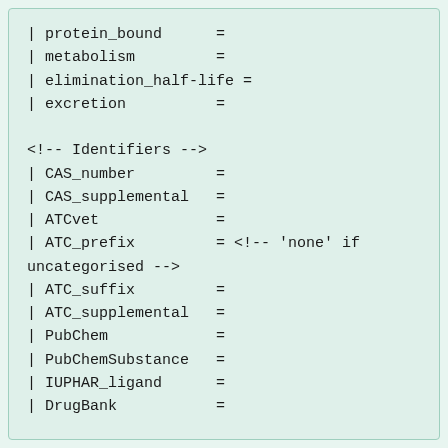| protein_bound      =
| metabolism         =
| elimination_half-life =
| excretion          =

<!-- Identifiers -->
| CAS_number         =
| CAS_supplemental   =
| ATCvet             =
| ATC_prefix         = <!-- 'none' if uncategorised -->
| ATC_suffix         =
| ATC_supplemental   =
| PubChem            =
| PubChemSubstance   =
| IUPHAR_ligand      =
| DrugBank           =